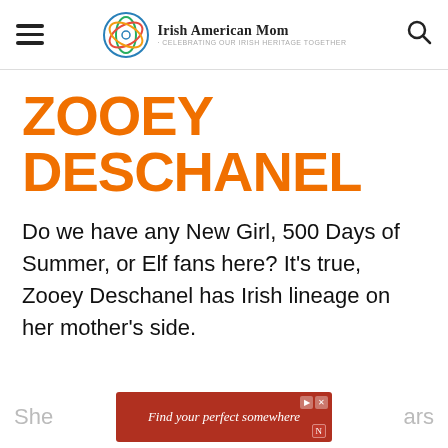Irish American Mom - Celebrating Our Irish Heritage Together
ZOOEY DESCHANEL
Do we have any New Girl, 500 Days of Summer, or Elf fans here? It's true, Zooey Deschanel has Irish lineage on her mother's side.
She... ...ars
[Figure (other): Advertisement banner: Find your perfect somewhere]